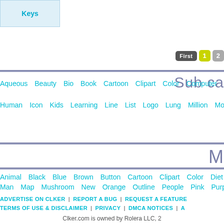Keys
First  1  2
Sub ca
Aqueous  Beauty  Bio  Book  Cartoon  Clipart  Color  Computer
Human  Icon  Kids  Learning  Line  List  Logo  Lung  Million  Mo
M
Animal  Black  Blue  Brown  Button  Cartoon  Clipart  Color  Diet
Man  Map  Mushroom  New  Orange  Outline  People  Pink  Purp
ADVERTISE ON CLKER  |  REPORT A BUG  |  REQUEST A FEATURE
TERMS OF USE & DISCLAIMER  |  PRIVACY  |  DMCA NOTICES  |  A
Clker.com is owned by Rolera LLC, 2